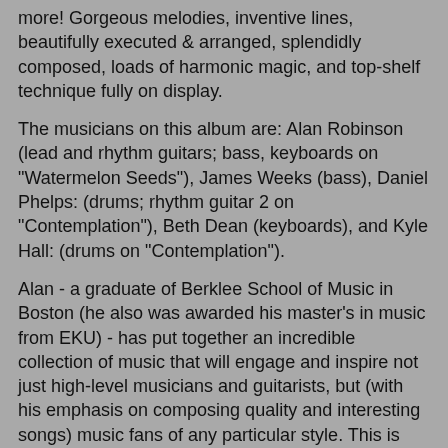more! Gorgeous melodies, inventive lines, beautifully executed & arranged, splendidly composed, loads of harmonic magic, and top-shelf technique fully on display.
The musicians on this album are: Alan Robinson (lead and rhythm guitars; bass, keyboards on "Watermelon Seeds"), James Weeks (bass), Daniel Phelps: (drums; rhythm guitar 2 on "Contemplation"), Beth Dean (keyboards), and Kyle Hall: (drums on "Contemplation").
Alan - a graduate of Berklee School of Music in Boston (he also was awarded his master's in music from EKU) - has put together an incredible collection of music that will engage and inspire not just high-level musicians and guitarists, but (with his emphasis on composing quality and interesting songs) music fans of any particular style. This is what places him above the guitar-hero heap: his desire and ability to compose fascinating songs that stand on their own, not requiring the pyrotechnics to carry them along.
This makes his stunning technical virtuosity all the more amazing, and welcome, when it shows up in spades!